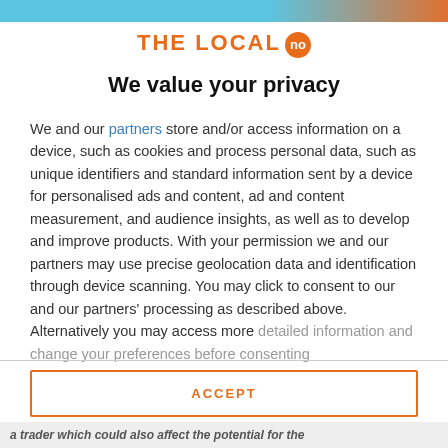THE LOCAL no
We value your privacy
We and our partners store and/or access information on a device, such as cookies and process personal data, such as unique identifiers and standard information sent by a device for personalised ads and content, ad and content measurement, and audience insights, as well as to develop and improve products. With your permission we and our partners may use precise geolocation data and identification through device scanning. You may click to consent to our and our partners' processing as described above. Alternatively you may access more detailed information and change your preferences before consenting
ACCEPT
MORE OPTIONS
a trader which could also affect the potential for the